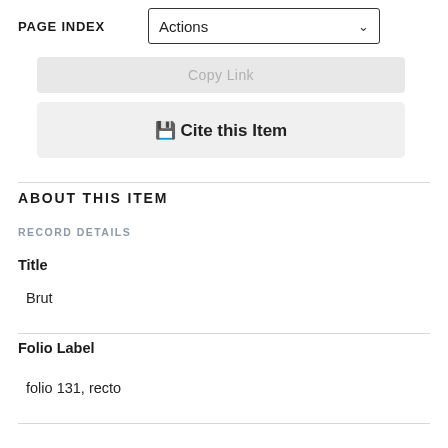PAGE INDEX  Actions
Copy Link
Cite this Item
ABOUT THIS ITEM
RECORD DETAILS
Title
Brut
Folio Label
folio 131, recto